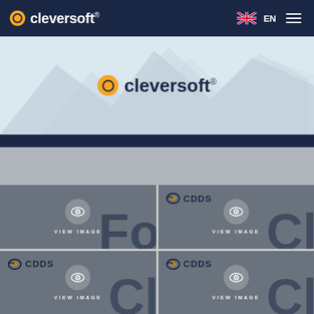cleversoft® EN
[Figure (logo): Cleversoft hero banner with mountain silhouette background and cleversoft® logo centered]
[Figure (illustration): Product image card 1 - VIEW IMAGE placeholder with FO watermark]
[Figure (illustration): CDDS product image card 2 - VIEW IMAGE placeholder with CI watermark]
[Figure (illustration): CDDS product image card 3 - VIEW IMAGE placeholder with CI watermark]
[Figure (illustration): CDDS product image card 4 - VIEW IMAGE placeholder with CI watermark]